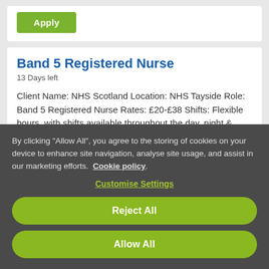[Figure (screenshot): Apply button (green rounded rectangle with white text)]
Band 5 Registered Nurse
13 Days left
Client Name: NHS Scotland Location: NHS Tayside Role: Band 5 Registered Nurse Rates: £20-£38 Shifts: Flexible hours, with shifts available throughout the day, night &...
By clicking "Allow All", you agree to the storing of cookies on your device to enhance site navigation, analyse site usage, and assist in our marketing efforts. Cookie policy.
Customise Settings
Reject All
Allow All